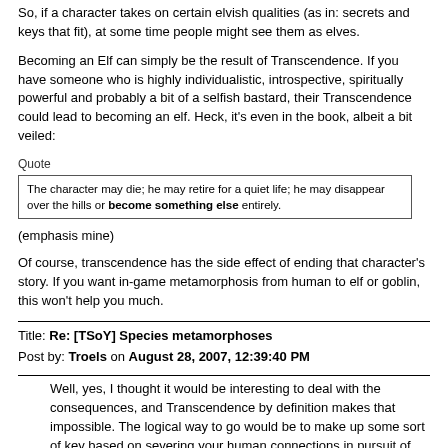So, if a character takes on certain elvish qualities (as in: secrets and keys that fit), at some time people might see them as elves.
Becoming an Elf can simply be the result of Transcendence. If you have someone who is highly individualistic, introspective, spiritually powerful and probably a bit of a selfish bastard, their Transcendence could lead to becoming an elf. Heck, it's even in the book, albeit a bit veiled:
Quote
The character may die; he may retire for a quiet life; he may disappear over the hills or become something else entirely.
(emphasis mine)
Of course, transcendence has the side effect of ending that character's story. If you want in-game metamorphosis from human to elf or goblin, this won't help you much.
Title: Re: [TSoY] Species metamorphoses
Post by: Troels on August 28, 2007, 12:39:40 PM
Well, yes, I thought it would be interesting to deal with the consequences, and Transcendence by definition makes that impossible. The logical way to go would be to make up some sort of key based on severing your human connections in pursuit of spiritual and magical